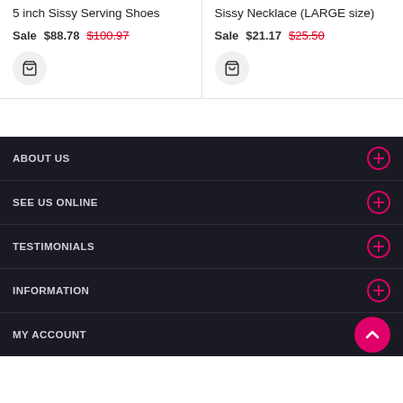5 inch Sissy Serving Shoes
Sale $88.78  $100.97
Sissy Necklace (LARGE size)
Sale $21.17  $25.50
ABOUT US
SEE US ONLINE
TESTIMONIALS
INFORMATION
MY ACCOUNT